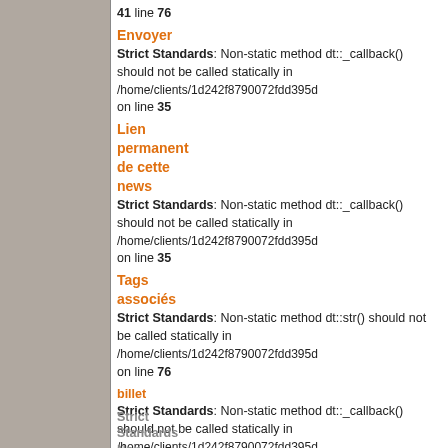41 line 76
Envoyer Strict Standards: Non-static method dt::_callback() should not be called statically in /home/clients/1d242f8790072fdd395d on line 35
Lien permanent de cette news Strict Standards: Non-static method dt::_callback() should not be called statically in /home/clients/1d242f8790072fdd395d on line 35
Tags associés Strict Standards: Non-static method dt::str() should not be called statically in /home/clients/1d242f8790072fdd395d on line 76
billet Strict Standards: Non-static method dt::_callback() should not be called statically in /home/clients/1d242f8790072fdd395d on line 35
Strict Standards: Non-static method dt::_callback() should not be called statically in /home/clients/1d242f8790072fdd395d on line 35
Strict Standards: Non-static method tw_tags::show() static method